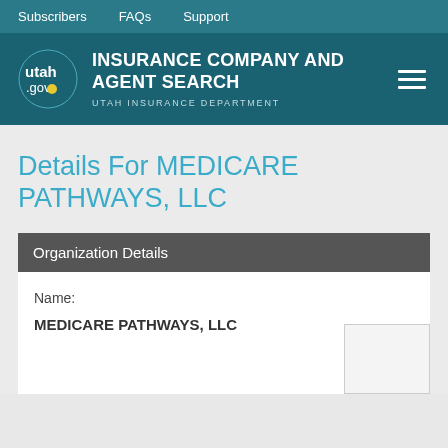Subscribers   FAQs   Support
[Figure (logo): Utah.gov logo with Insurance Company and Agent Search - Utah Insurance Department header and hamburger menu]
Details For MEDICARE PATHWAYS, LLC
Organization Details
Name:
MEDICARE PATHWAYS, LLC